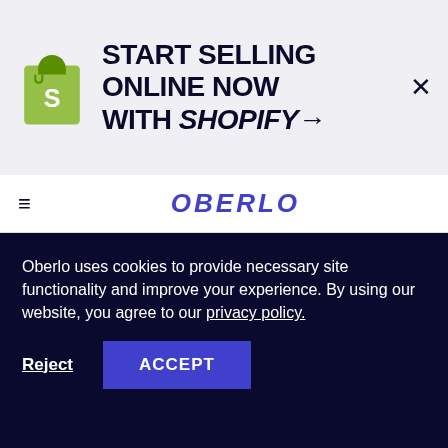[Figure (logo): Shopify ad banner with logo and text: START SELLING ONLINE NOW WITH SHOPIFY→]
OBERLO
everything is new. However, sometimes, new entrepreneurs get a little too excited about the wrong things. As an experienced entrepreneur, I've made my fair share of mistakes. That's why I've created these 50
Oberlo uses cookies to provide necessary site functionality and improve your experience. By using our website, you agree to our privacy policy.
Reject   ACCEPT